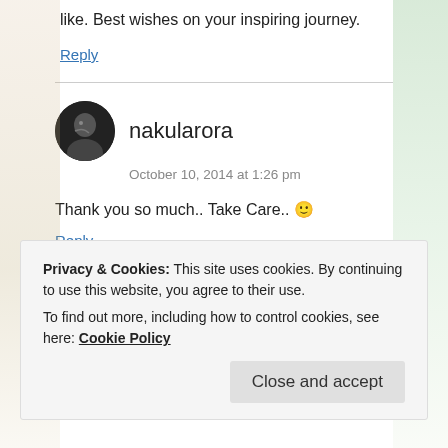like. Best wishes on your inspiring journey.
Reply
nakularora
October 10, 2014 at 1:26 pm
Thank you so much.. Take Care.. 🙂
Reply
Privacy & Cookies: This site uses cookies. By continuing to use this website, you agree to their use.
To find out more, including how to control cookies, see here: Cookie Policy
Close and accept